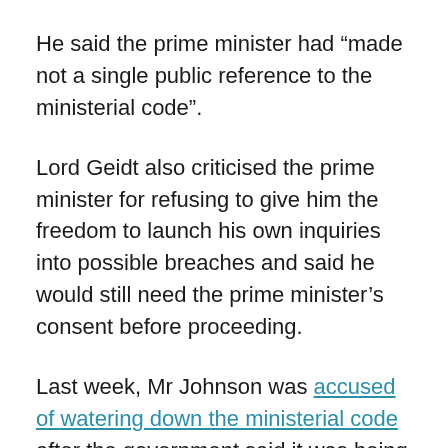He said the prime minister had “made not a single public reference to the ministerial code”.
Lord Geidt also criticised the prime minister for refusing to give him the freedom to launch his own inquiries into possible breaches and said he would still need the prime minister’s consent before proceeding.
Last week, Mr Johnson was accused of watering down the ministerial code after the government said it was being updated to make clear that ministers will not necessarily have to resign for more minor violations.
Instead the prime minister will have the option of imposing lesser sanctions such as “some form of public apology, remedial action or removal of ministerial salary